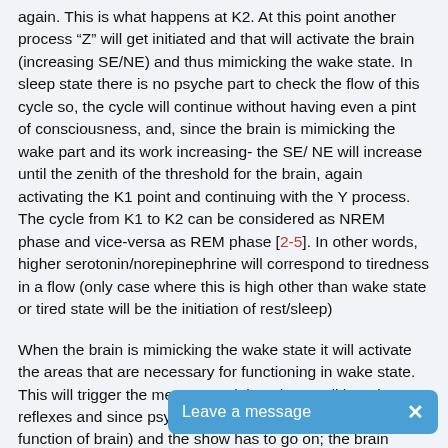again. This is what happens at K2. At this point another process “Z” will get initiated and that will activate the brain (increasing SE/NE) and thus mimicking the wake state. In sleep state there is no psyche part to check the flow of this cycle so, the cycle will continue without having even a pint of consciousness, and, since the brain is mimicking the wake part and its work increasing- the SE/ NE will increase until the zenith of the threshold for the brain, again activating the K1 point and continuing with the Y process. The cycle from K1 to K2 can be considered as NREM phase and vice-versa as REM phase [2-5]. In other words, higher serotonin/norepinephrine will correspond to tiredness in a flow (only case where this is high other than wake state or tired state will be the initiation of rest/sleep)
When the brain is mimicking the wake state it will activate the areas that are necessary for functioning in wake state. This will trigger the memory and thus the conditioned reflexes and since psyche is still asleep (not checking the function of brain) and the show has to go on; the brain follows a very l... shifting model (explained later...